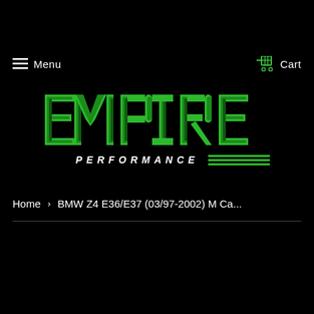Menu  Cart
[Figure (logo): Empire Performance logo in green on black background. EMPIRE in large bold italic striated letters, PERFORMANCE in smaller spaced letters below with horizontal green lines to the right.]
Home › BMW Z4 E36/E37 (03/97-2002) M Ca...